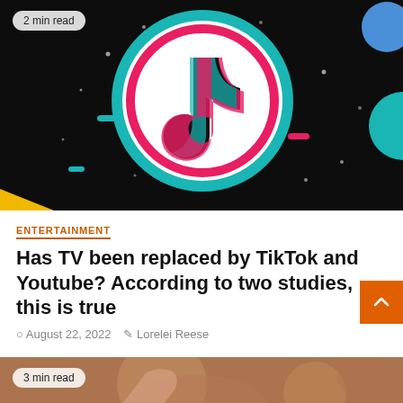[Figure (illustration): TikTok logo on dark space-themed background with colorful geometric shapes and dots. A '2 min read' badge appears in the top left corner.]
ENTERTAINMENT
Has TV been replaced by TikTok and Youtube? According to two studies, this is true
August 22, 2022  Lorelei Reese
[Figure (photo): Partial image of a person, blurred background. '3 min read' badge in top left corner.]